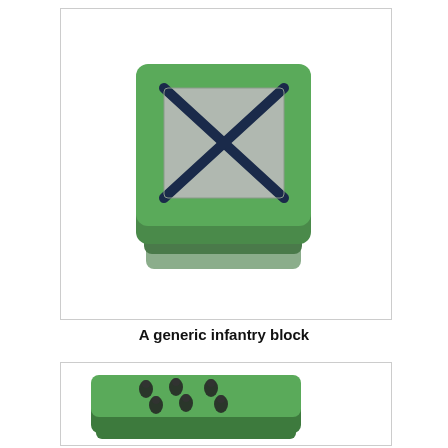[Figure (photo): Photograph of a green plastic infantry game block (square shaped with rounded corners) with a gray square face displaying a dark blue X symbol, shown at an angle with a second flat block beneath it]
A generic infantry block
[Figure (photo): Photograph of a green plastic rectangular game block with six small dark soldier figure icons on its top face, shown at an angle with a thin flat block beneath it]